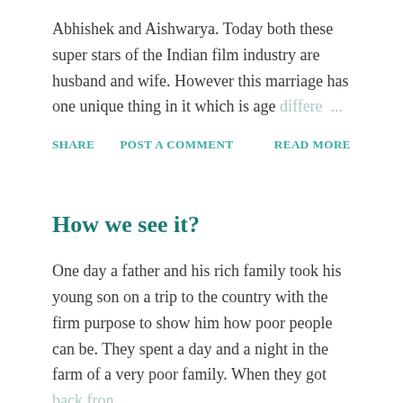Abhishek and Aishwarya. Today both these super stars of the Indian film industry are husband and wife. However this marriage has one unique thing in it which is age differe ...
SHARE   POST A COMMENT   READ MORE
How we see it?
One day a father and his rich family took his young son on a trip to the country with the firm purpose to show him how poor people can be. They spent a day and a night in the farm of a very poor family. When they got back fron ...
SHARE   POST A COMMENT   READ MORE